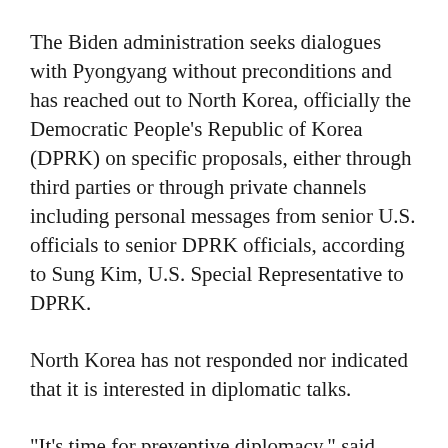The Biden administration seeks dialogues with Pyongyang without preconditions and has reached out to North Korea, officially the Democratic People's Republic of Korea (DPRK) on specific proposals, either through third parties or through private channels including personal messages from senior U.S. officials to senior DPRK officials, according to Sung Kim, U.S. Special Representative to DPRK.
North Korea has not responded nor indicated that it is interested in diplomatic talks.
"It's time for preventive diplomacy," said Yoon Young-kwan, South Korea's former minister of foreign affairs and now professor emeritus at Seoul National University. He made the comment during a webinar hosted by the Washington-based think tank Center for